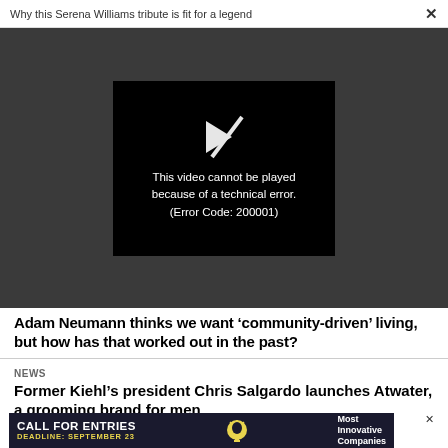Why this Serena Williams tribute is fit for a legend ×
[Figure (screenshot): Video player showing error message: 'This video cannot be played because of a technical error. (Error Code: 200001)' on dark background with broken play icon]
Adam Neumann thinks we want 'community-driven' living, but how has that worked out in the past?
NEWS
Former Kiehl's president Chris Salgardo launches Atwater, a grooming brand for men
[Figure (infographic): Advertisement banner: 'CALL FOR ENTRIES DEADLINE: SEPTEMBER 23 Most Innovative Companies' with lightbulb icon on dark navy background]